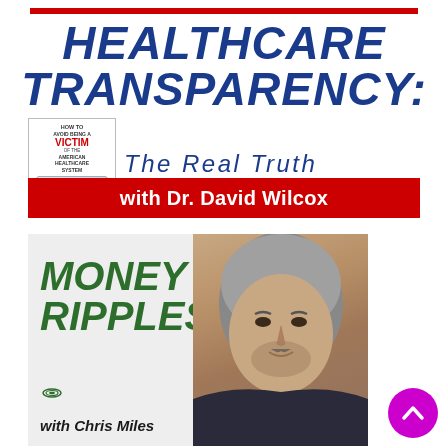HEALTHCARE TRANSPARENCY: The Real Truth
[Figure (illustration): Book cover: How to Avoid Being a Victim of the American Healthcare System by Dr. David Wilcox]
with Dr. David Wilcox
[Figure (illustration): Money Ripples with Chris Miles podcast logo with host photo]
with Chris Miles